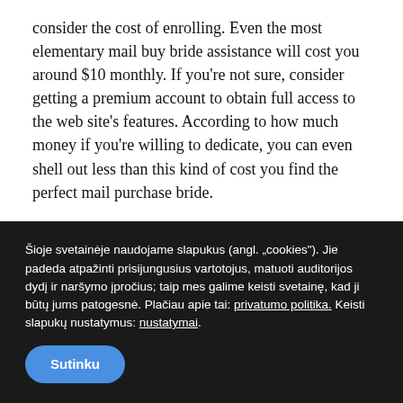consider the cost of enrolling. Even the most elementary mail buy bride assistance will cost you around $10 monthly. If you're not sure, consider getting a premium account to obtain full access to the web site's features. According to how much money if you're willing to dedicate, you can even shell out less than this kind of cost you find the perfect mail purchase bride.
you've found a site that will allow one to communicate with the bride, you have to write a profile about yourself. The majority of foreign email order brides will require that you create a account, so make sure you be honest and informative. Girls love a male who is permissive and honest. They will also we appreciate the fact that
Šioje svetainėje naudojame slapukus (angl. „cookies"). Jie padeda atpažinti prisijungusius vartotojus, matuoti auditorijos dydį ir naršymo įpročius; taip mes galime keisti svetainę, kad ji būtų jums patogesnė. Plačiau apie tai: privatumo politika. Keisti slapukų nustatymus: nustatymai.